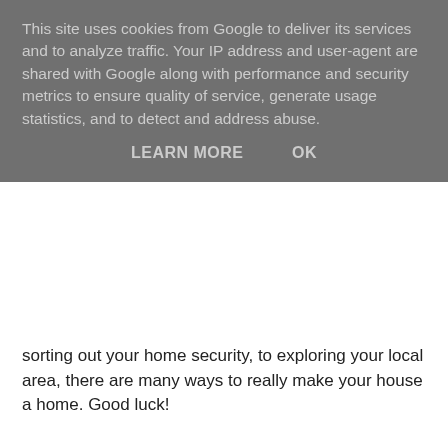This site uses cookies from Google to deliver its services and to analyze traffic. Your IP address and user-agent are shared with Google along with performance and security metrics to ensure quality of service, generate usage statistics, and to detect and address abuse.
LEARN MORE   OK
sorting out your home security, to exploring your local area, there are many ways to really make your house a home. Good luck!
Home Family Life at 07:00
Share
No comments:
Post a Comment
Thanks for your comment